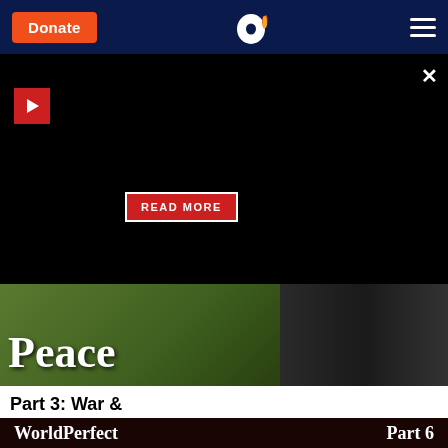Donate | [AO Logo] | Menu
[Figure (screenshot): Video player area with black background, red play button icon at top-left, close X button at top-right, and a red READ MORE button centered lower]
[Figure (photo): Image showing the word 'Peace' in white bold text over a green outdoor background with military/conflict imagery on the right side]
Part 3: War & Peace
[Figure (screenshot): Dark maroon banner showing 'WorldPerfect Part 6' in white bold text with Simpsons characters visible below]